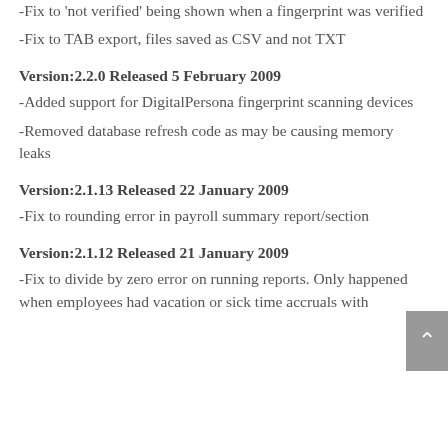-Fix to 'not verified' being shown when a fingerprint was verified
-Fix to TAB export, files saved as CSV and not TXT
Version:2.2.0 Released 5 February 2009
-Added support for DigitalPersona fingerprint scanning devices
-Removed database refresh code as may be causing memory leaks
Version:2.1.13 Released 22 January 2009
-Fix to rounding error in payroll summary report/section
Version:2.1.12 Released 21 January 2009
-Fix to divide by zero error on running reports. Only happened when employees had vacation or sick time accruals with